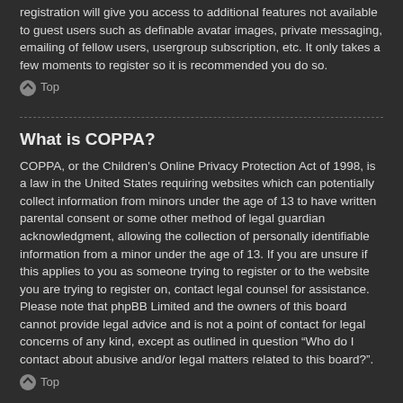registration will give you access to additional features not available to guest users such as definable avatar images, private messaging, emailing of fellow users, usergroup subscription, etc. It only takes a few moments to register so it is recommended you do so.
Top
What is COPPA?
COPPA, or the Children's Online Privacy Protection Act of 1998, is a law in the United States requiring websites which can potentially collect information from minors under the age of 13 to have written parental consent or some other method of legal guardian acknowledgment, allowing the collection of personally identifiable information from a minor under the age of 13. If you are unsure if this applies to you as someone trying to register or to the website you are trying to register on, contact legal counsel for assistance. Please note that phpBB Limited and the owners of this board cannot provide legal advice and is not a point of contact for legal concerns of any kind, except as outlined in question “Who do I contact about abusive and/or legal matters related to this board?”.
Top
Why can’t I register?
It is possible a board administrator has disabled registration to prevent